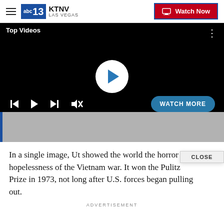KTNV LAS VEGAS | Watch Now
[Figure (screenshot): Video player with 'Top Videos' label, play button circle, media controls (skip back, play, skip forward, mute), 'WATCH MORE' button, and a progress bar area below on a grey background. Blue vertical progress indicator on left side.]
In a single image, Ut showed the world the horror and hopelessness of the Vietnam war. It won the Pulitz Prize in 1973, not long after U.S. forces began pulling out.
ADVERTISEMENT